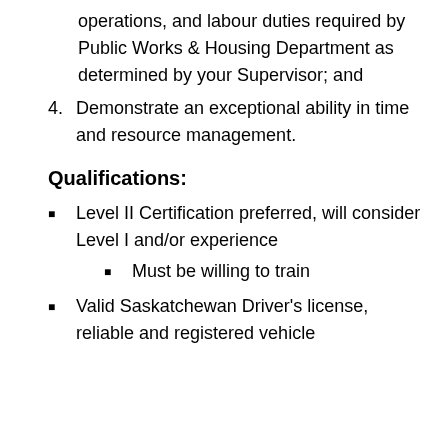operations, and labour duties required by Public Works & Housing Department as determined by your Supervisor; and
4. Demonstrate an exceptional ability in time and resource management.
Qualifications:
Level II Certification preferred, will consider Level I and/or experience
Must be willing to train
Valid Saskatchewan Driver's license, reliable and registered vehicle